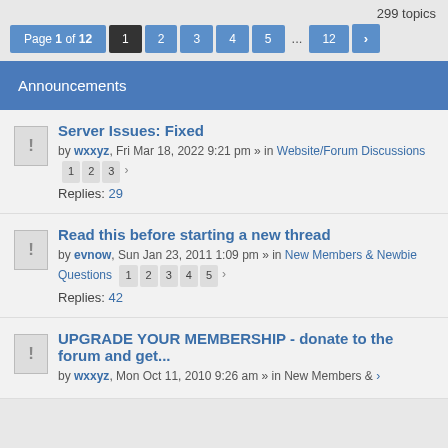299 topics
Page 1 of 12  1  2  3  4  5  ...  12  ›
Announcements
Server Issues: Fixed
by wxxyz, Fri Mar 18, 2022 9:21 pm » in Website/Forum Discussions
1 2 3
Replies: 29
Read this before starting a new thread
by evnow, Sun Jan 23, 2011 1:09 pm » in New Members & Newbie Questions
1 2 3 4 5
Replies: 42
UPGRADE YOUR MEMBERSHIP - donate to the forum and get...
by wxxyz, Mon Oct 11, 2010 9:26 am » in New Members &